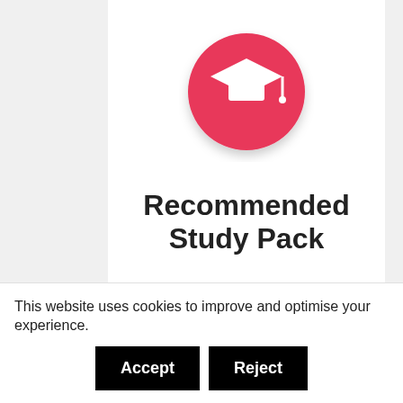[Figure (logo): Red circle with white graduation cap icon]
Recommended Study Pack
To ensure your child has access to the best 11+ resources, online tests, downloads we recommend our
This website uses cookies to improve and optimise your experience.
Accept   Reject